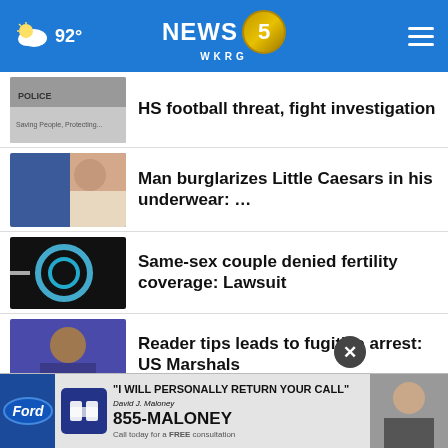92° NEWS 5 WKRG
HS football threat, fight investigation
Man burglarizes Little Caesars in his underwear: …
Same-sex couple denied fertility coverage: Lawsuit
Reader tips leads to fugitive arrest: US Marshals
Infant bath seats recalled over drowning hazard
[Figure (screenshot): Advertisement banner: Maloney-Lyons LLC law firm. Quote: 'I WILL PERSONALLY RETURN YOUR CALL' 855-MALONEY, David J. Maloney. Call today for a FREE consultation.]